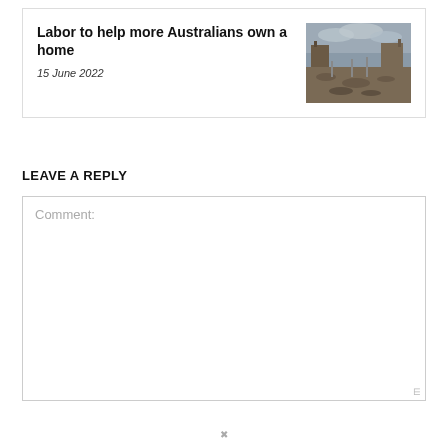Labor to help more Australians own a home
15 June 2022
[Figure (photo): Photograph of a construction site with cleared land, building frames, and overcast sky]
LEAVE A REPLY
Comment: